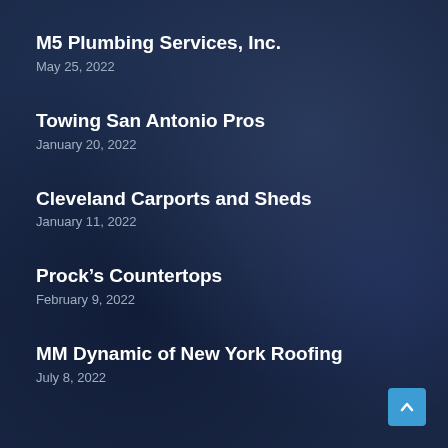M5 Plumbing Services, Inc.
May 25, 2022
Towing San Antonio Pros
January 20, 2022
Cleveland Carports and Sheds
January 11, 2022
Prock’s Countertops
February 9, 2022
MM Dynamic of New York Roofing
July 8, 2022